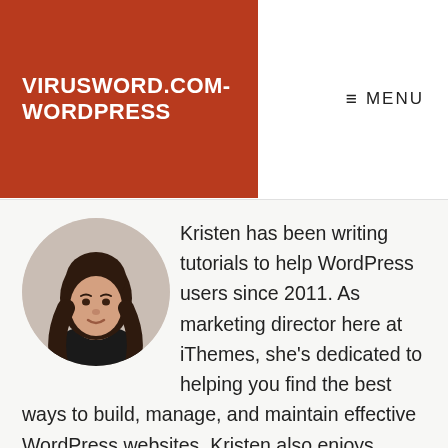VIRUSWORD.COM-WORDPRESS
MENU
[Figure (photo): Circular headshot photo of Kristen, a woman with long brown hair wearing a black top, smiling slightly.]
Kristen has been writing tutorials to help WordPress users since 2011. As marketing director here at iThemes, she's dedicated to helping you find the best ways to build, manage, and maintain effective WordPress websites. Kristen also enjoys journaling (she doesn't keep it private so The...